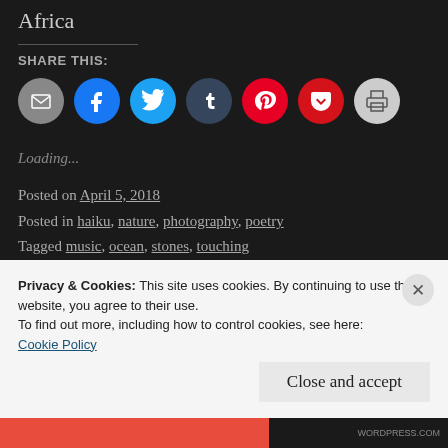Africa
SHARE THIS:
[Figure (infographic): Row of social sharing icon buttons: email (gray), Facebook (blue), Twitter (light blue), Tumblr (dark blue), Pinterest (red), Pocket (red), Print (gray)]
Loading...
Posted on April 5, 2018
Posted in haiku, nature, photography, poetry
Tagged music, ocean, stones, touching
Privacy & Cookies: This site uses cookies. By continuing to use this website, you agree to their use.
To find out more, including how to control cookies, see here:
Cookie Policy
Close and accept